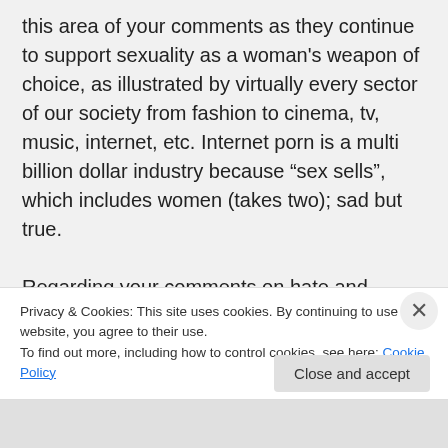this area of your comments as they continue to support sexuality as a woman's weapon of choice, as illustrated by virtually every sector of our society from fashion to cinema, tv, music, internet, etc. Internet porn is a multi billion dollar industry because “sex sells”, which includes women (takes two); sad but true.

Regarding your comments on hate and intolerance, bolstered by Trump’s win, here
Privacy & Cookies: This site uses cookies. By continuing to use this website, you agree to their use.
To find out more, including how to control cookies, see here: Cookie Policy
Close and accept